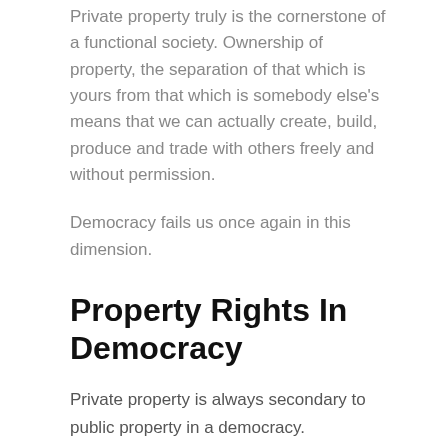Private property truly is the cornerstone of a functional society. Ownership of property, the separation of that which is yours from that which is somebody else's means that we can actually create, build, produce and trade with others freely and without permission.
Democracy fails us once again in this dimension.
Property Rights In Democracy
Private property is always secondary to public property in a democracy.
In fact, any and all private property is subject to confiscation and transformation into public property for the “good of the people” should the state deem that necessary and have it “voted” upon.